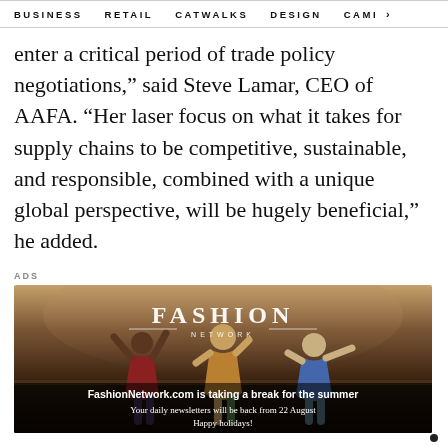BUSINESS   RETAIL   CATWALKS   DESIGN   CAMI  >
enter a critical period of trade policy negotiations,” said Steve Lamar, CEO of AAFA. “Her laser focus on what it takes for supply chains to be competitive, sustainable, and responsible, combined with a unique global perspective, will be hugely beneficial,” he added.
ADS
[Figure (illustration): Fashion Network advertisement banner with three young women in a field, with the text: FASHION NETWORK logo, FashionNetwork.com is taking a break for the summer. Your daily newsletters will be back from 22 August. Happy holidays!]